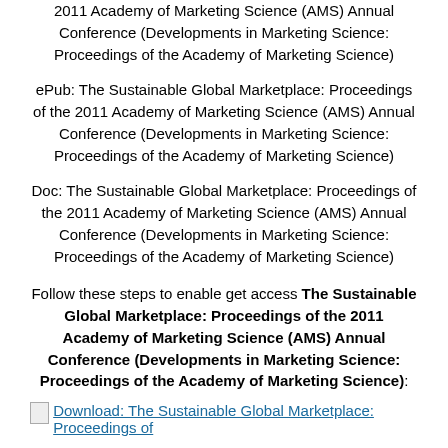2011 Academy of Marketing Science (AMS) Annual Conference (Developments in Marketing Science: Proceedings of the Academy of Marketing Science)
ePub: The Sustainable Global Marketplace: Proceedings of the 2011 Academy of Marketing Science (AMS) Annual Conference (Developments in Marketing Science: Proceedings of the Academy of Marketing Science)
Doc: The Sustainable Global Marketplace: Proceedings of the 2011 Academy of Marketing Science (AMS) Annual Conference (Developments in Marketing Science: Proceedings of the Academy of Marketing Science)
Follow these steps to enable get access The Sustainable Global Marketplace: Proceedings of the 2011 Academy of Marketing Science (AMS) Annual Conference (Developments in Marketing Science: Proceedings of the Academy of Marketing Science):
Download: The Sustainable Global Marketplace: Proceedings of